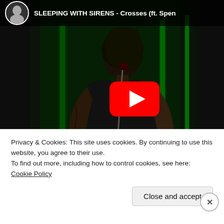[Figure (screenshot): YouTube video thumbnail showing a music video for SLEEPING WITH SIRENS - Crosses (ft. Spen...) with a tattooed male vocalist performing on stage with green neon light columns in the background. A red YouTube play button is overlaid in the center-right. A 'Watch on YouTube' bar is at the bottom of the video. A circular channel avatar is in the top-left of the video frame.]
Privacy & Cookies: This site uses cookies. By continuing to use this website, you agree to their use.
To find out more, including how to control cookies, see here: Cookie Policy
Close and accept